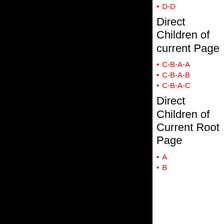D-D
Direct Children of current Page
C-B-A-A
C-B-A-B
C-B-A-C
Direct Children of Current Root Page
A
B